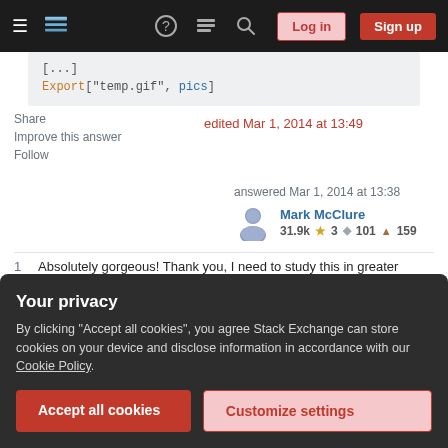Stack Exchange navigation bar with Log in and Sign up buttons
[Figure (screenshot): Code block showing Export["temp.gif", pics]]
Share | edited Mar 1, 2014 at 13:49
Improve this answer
Follow
answered Mar 1, 2014 at 13:38
Mark McClure
31.9k ★3 ◆101 ▲159
1  Absolutely gorgeous! Thank you, I need to study this in greater detail! +1 May I ask what I think is a simple
Your privacy
By clicking "Accept all cookies", you agree Stack Exchange can store cookies on your device and disclose information in accordance with our Cookie Policy.
Accept all cookies  Customize settings